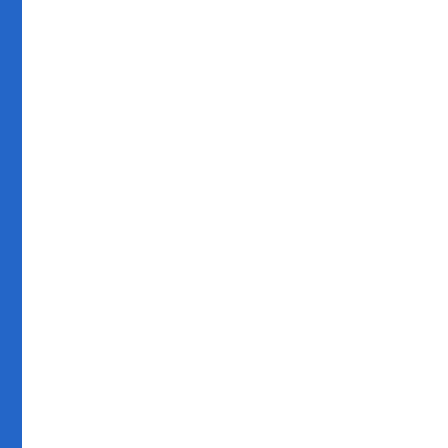[Figure (screenshot): Social media or forum page with white left panel with blue left border, and right column showing orange post cards each with Arabic text 'sa' and a blue button labeled 'تبليغ عن اساءة' (Report abuse).]